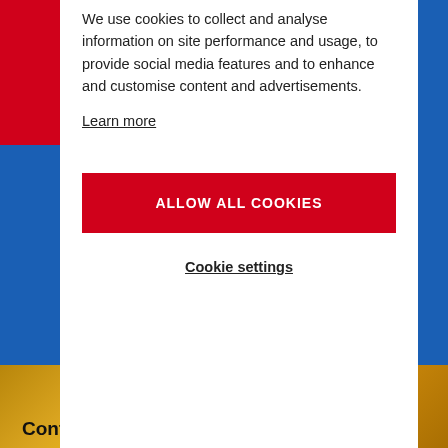We use cookies to collect and analyse information on site performance and usage, to provide social media features and to enhance and customise content and advertisements.
Learn more
ALLOW ALL COOKIES
Cookie settings
Contents